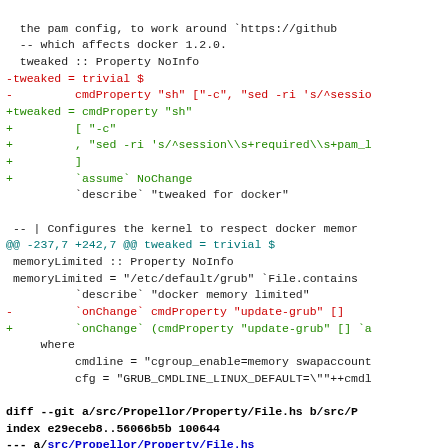Diff/patch code block showing git diff content for Propellor Haskell configuration files, including changes to pam config, docker memory kernel settings, and File.hs property definitions.